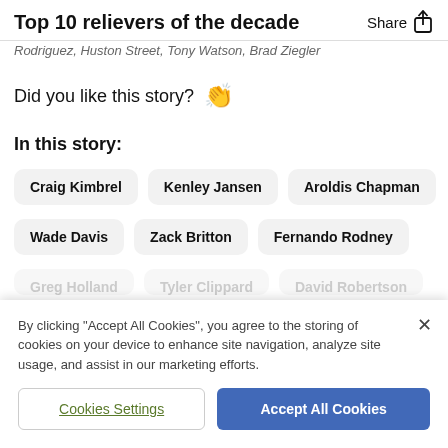Top 10 relievers of the decade
Rodriguez, Huston Street, Tony Watson, Brad Ziegler
Did you like this story? 👏
In this story:
Craig Kimbrel
Kenley Jansen
Aroldis Chapman
Wade Davis
Zack Britton
Fernando Rodney
By clicking "Accept All Cookies", you agree to the storing of cookies on your device to enhance site navigation, analyze site usage, and assist in our marketing efforts.